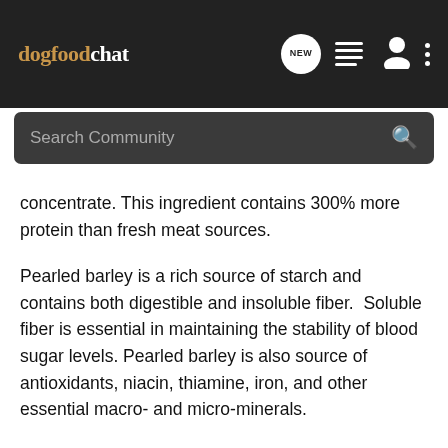dogfoodchat
concentrate. This ingredient contains 300% more protein than fresh meat sources.
Pearled barley is a rich source of starch and contains both digestible and insoluble fiber.  Soluble fiber is essential in maintaining the stability of blood sugar levels. Pearled barley is also source of antioxidants, niacin, thiamine, iron, and other essential macro- and micro-minerals.
Whole grain brown rice is a whole grain ingredient. It is a better dog food ingredient compared to white rice because the nutrient-rich bran has not been removed. The bran contains fiber and essential nutrient like